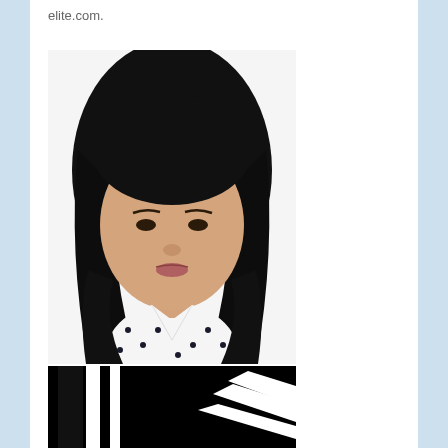elite.com.
[Figure (photo): Headshot of a young woman with long black hair, wearing a white polka-dot blouse, photographed against a white background.]
[Figure (logo): Black and white logo with geometric angular shapes resembling stylized letters or building forms, bold graphic design mark.]